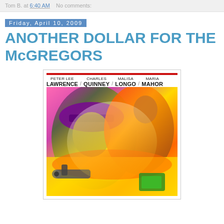Tom B. at 6:40 AM    No comments:
Friday, April 10, 2009
ANOTHER DOLLAR FOR THE McGREGORS
[Figure (illustration): Movie poster for 'Another Dollar for the McGregors' featuring colorful illustrated western action scene with cowboys and a gun. Credits at top: Peter Lee Lawrence / Charles Quinney / Malisa Longo / Maria Mahor. Red stripe at top of poster image area.]